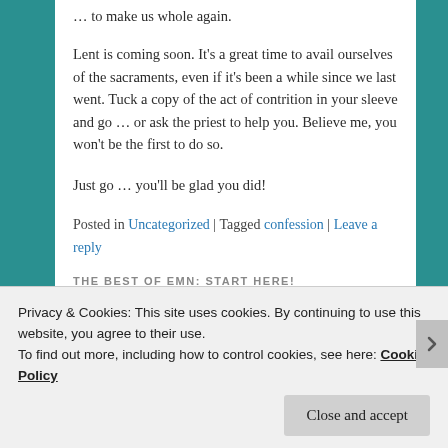… to make us whole again.
Lent is coming soon. It's a great time to avail ourselves of the sacraments, even if it's been a while since we last went. Tuck a copy of the act of contrition in your sleeve and go … or ask the priest to help you. Believe me, you won't be the first to do so.
Just go … you'll be glad you did!
Posted in Uncategorized | Tagged confession | Leave a reply
THE BEST OF EMN: START HERE!
Privacy & Cookies: This site uses cookies. By continuing to use this website, you agree to their use.
To find out more, including how to control cookies, see here: Cookie Policy
Close and accept